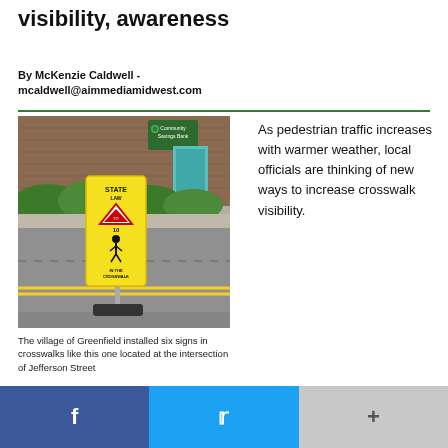visibility, awareness
By McKenzie Caldwell - mcaldwell@aimmediamidwest.com
[Figure (photo): A yellow crosswalk sign reading 'STATE LAW' with a yield symbol and pedestrian figure, installed in the middle of a road at an intersection. A Community Savings Bank building is visible in the background with green bushes.]
The village of Greenfield installed six signs in crosswalks like this one located at the intersection of Jefferson Street
As pedestrian traffic increases with warmer weather, local officials are thinking of new ways to increase crosswalk visibility.
f  (facebook)  Twitter  +